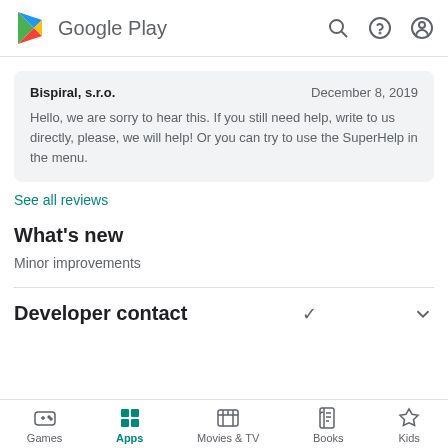Google Play
Bispiral, s.r.o.    December 8, 2019
Hello, we are sorry to hear this. If you still need help, write to us directly, please, we will help! Or you can try to use the SuperHelp in the menu.
See all reviews
What's new
Minor improvements
Developer contact
Games  Apps  Movies & TV  Books  Kids